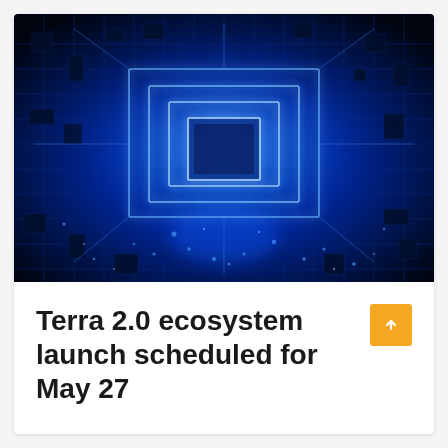[Figure (photo): Close-up photo of a glowing blue circuit board / microchip with concentric square light outlines radiating from the center chip, dark blue tones with bright blue light highlights]
Terra 2.0 ecosystem launch scheduled for May 27